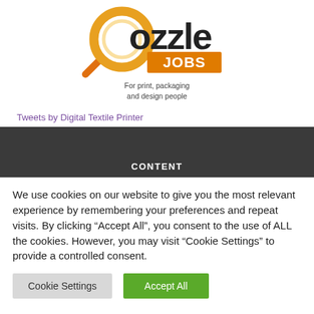[Figure (logo): Oozzle Jobs logo — magnifying glass icon in orange/gold with 'oozzle' text and 'JOBS' on an orange rectangle background, with tagline 'For print, packaging and design people']
Tweets by Digital Textile Printer
CONTENT
We use cookies on our website to give you the most relevant experience by remembering your preferences and repeat visits. By clicking “Accept All”, you consent to the use of ALL the cookies. However, you may visit "Cookie Settings" to provide a controlled consent.
Cookie Settings   Accept All